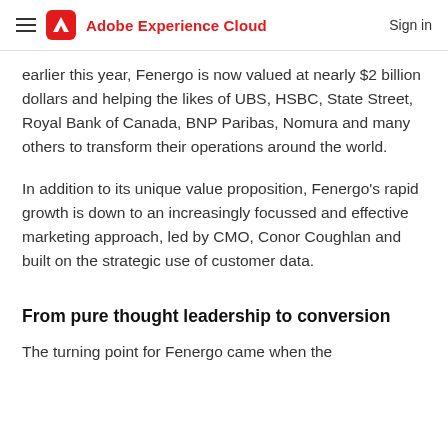Adobe Experience Cloud | Sign in
earlier this year, Fenergo is now valued at nearly $2 billion dollars and helping the likes of UBS, HSBC, State Street, Royal Bank of Canada, BNP Paribas, Nomura and many others to transform their operations around the world.
In addition to its unique value proposition, Fenergo's rapid growth is down to an increasingly focussed and effective marketing approach, led by CMO, Conor Coughlan and built on the strategic use of customer data.
From pure thought leadership to conversion
The turning point for Fenergo came when the